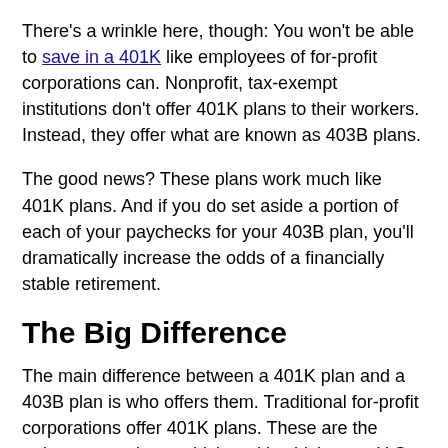There's a wrinkle here, though: You won't be able to save in a 401K like employees of for-profit corporations can. Nonprofit, tax-exempt institutions don't offer 401K plans to their workers. Instead, they offer what are known as 403B plans.
The good news? These plans work much like 401K plans. And if you do set aside a portion of each of your paychecks for your 403B plan, you'll dramatically increase the odds of a financially stable retirement.
The Big Difference
The main difference between a 401K plan and a 403B plan is who offers them. Traditional for-profit corporations offer 401K plans. These are the retirement savings vehicles with which most U.S. workers are familiar. You set aside a...